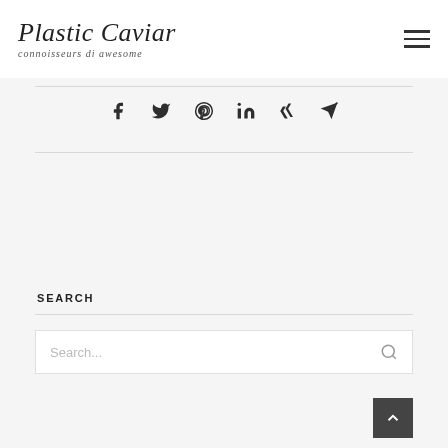Plastic Caviar — connoisseurs di awesome
[Figure (infographic): Social media share icons row: Facebook, Twitter, Pinterest, LinkedIn, Xing, Email/Telegram]
SEARCH
Search...